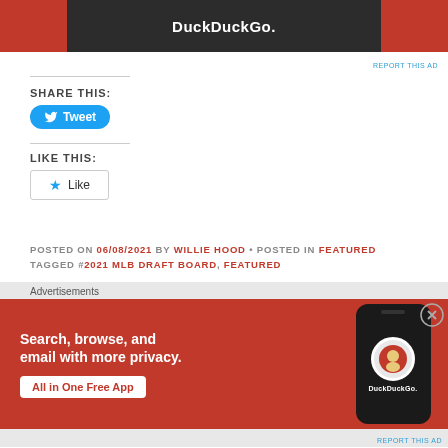[Figure (screenshot): Top DuckDuckGo advertisement banner with dark center and red sides]
REPORT THIS AD
SHARE THIS:
[Figure (other): Twitter Tweet button in blue]
LIKE THIS:
[Figure (other): Like button with star icon]
POSTED ON 06/08/2021 BY WILLIE HOOD • POSTED IN FEATURED
TAGGED #2021 MLB DRAFT BOARD, FEATURED
Advertisements
[Figure (screenshot): DuckDuckGo advertisement: Search, browse, and email with more privacy. All in One Free App. Shows phone mockup with DuckDuckGo logo.]